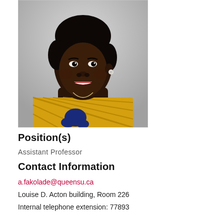[Figure (photo): Headshot portrait of a woman smiling, wearing a yellow patterned top with blue floral accents and a thin chain necklace, against a light grey background.]
Position(s)
Assistant Professor
Contact Information
a.fakolade@queensu.ca
Louise D. Acton building, Room 226
Internal telephone extension: 77893